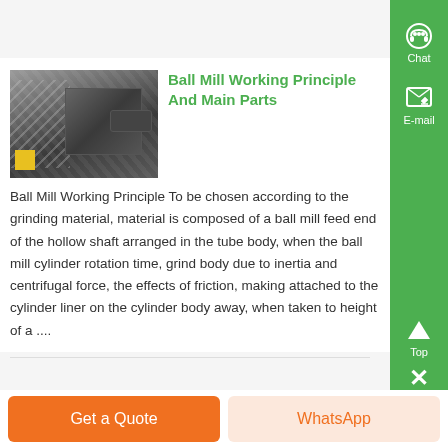[Figure (photo): Photo of a ball mill machine, gray industrial grinding equipment]
Ball Mill Working Principle And Main Parts
Ball Mill Working Principle To be chosen according to the grinding material, material is composed of a ball mill feed end of the hollow shaft arranged in the tube body, when the ball mill cylinder rotation time, grind body due to inertia and centrifugal force, the effects of friction, making attached to the cylinder liner on the cylinder body away, when taken to height of a ....
Get a Quote    WhatsApp